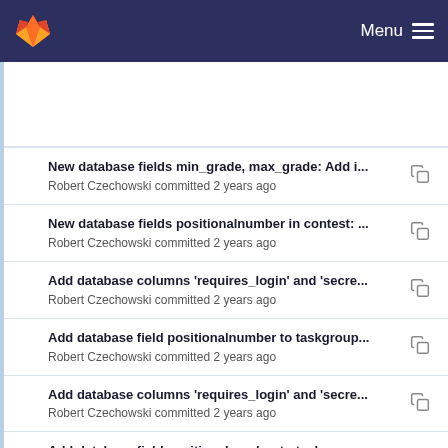Menu
New database fields min_grade, max_grade: Add i...
Robert Czechowski committed 2 years ago
New database fields positionalnumber in contest: ...
Robert Czechowski committed 2 years ago
Add database columns 'requires_login' and 'secre...
Robert Czechowski committed 2 years ago
Add database field positionalnumber to taskgroup...
Robert Czechowski committed 2 years ago
Add database columns 'requires_login' and 'secre...
Robert Czechowski committed 2 years ago
Add database field positionalnumber to taskgroup...
Robert Czechowski committed 2 years ago
Add database columns 'requires_login' and 'secre...